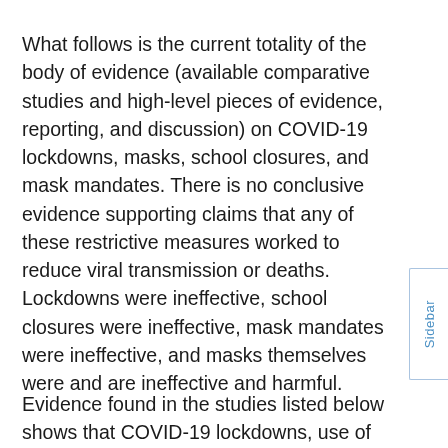What follows is the current totality of the body of evidence (available comparative studies and high-level pieces of evidence, reporting, and discussion) on COVID-19 lockdowns, masks, school closures, and mask mandates. There is no conclusive evidence supporting claims that any of these restrictive measures worked to reduce viral transmission or deaths. Lockdowns were ineffective, school closures were ineffective, mask mandates were ineffective, and masks themselves were and are ineffective and harmful.
Evidence found in the studies listed below shows that COVID-19 lockdowns, use of face masks,